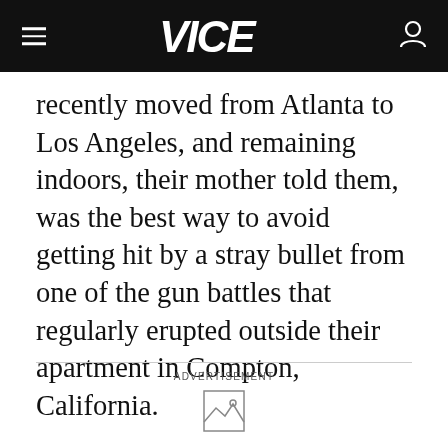VICE
recently moved from Atlanta to Los Angeles, and remaining indoors, their mother told them, was the best way to avoid getting hit by a stray bullet from one of the gun battles that regularly erupted outside their apartment in Compton, California.
ADVERTISEMENT
[Figure (other): Broken/placeholder image icon in advertisement area]